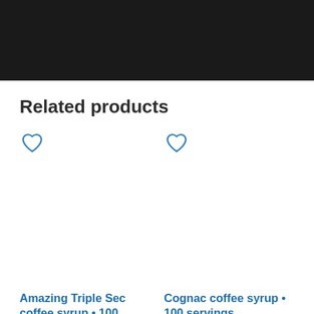[Figure (photo): Dark/black banner image at the top of the page]
Related products
[Figure (illustration): Heart/wishlist icon for first product (Amazing Triple Sec coffee syrup)]
[Figure (photo): Product image area for Amazing Triple Sec coffee syrup - 100 servings]
Amazing Triple Sec coffee syrup • 100 servings
[Figure (illustration): Heart/wishlist icon for second product (Cognac coffee syrup)]
[Figure (photo): Product image area for Cognac coffee syrup - 100 servings]
Cognac coffee syrup • 100 servings